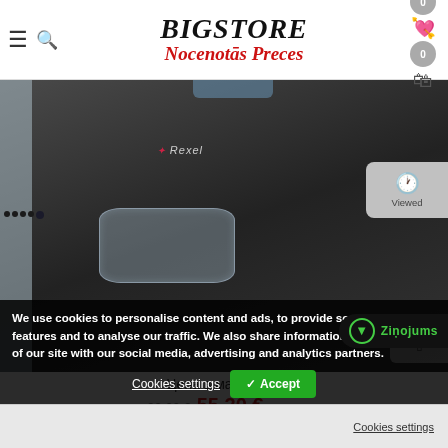BIGSTORE Nocenotās Preces
[Figure (photo): Photo of a black Rexel paper shredder with a transparent window on the front, placed against a light background with some packaging visible.]
Цена в магазинах
92.00 € 55.20 € с PVN
We use cookies to personalise content and ads, to provide social media features and to analyse our traffic. We also share information about your use of our site with our social media, advertising and analytics partners.
Cookies settings   ✓ Accept
Cookies settings